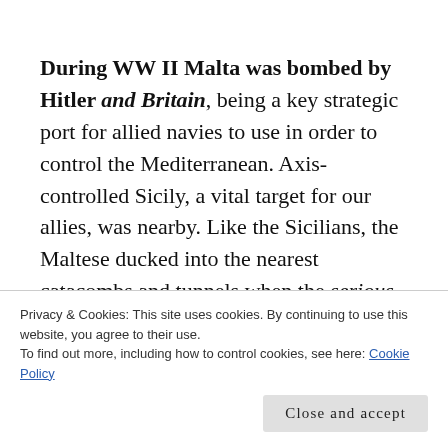During WW II Malta was bombed by Hitler and Britain, being a key strategic port for allied navies to use in order to control the Mediterranean. Axis-controlled Sicily, a vital target for our allies, was nearby. Like the Sicilians, the Maltese ducked into the nearest catacombs and tunnels when the serious shit came down
Privacy & Cookies: This site uses cookies. By continuing to use this website, you agree to their use.
To find out more, including how to control cookies, see here: Cookie Policy
Close and accept